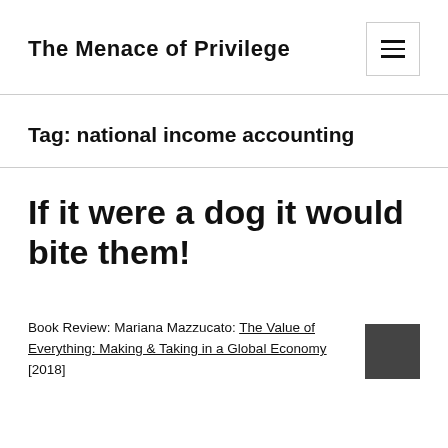The Menace of Privilege
Tag: national income accounting
If it were a dog it would bite them!
Book Review: Mariana Mazzucato: The Value of Everything: Making & Taking in a Global Economy [2018]